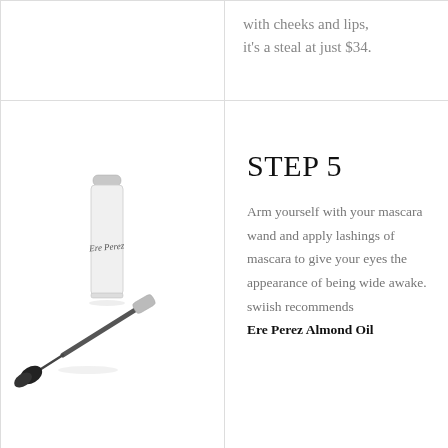with cheeks and lips, it's a steal at just $34.
[Figure (photo): Ere Perez mascara product — white tube with cap off and wand/brush applicator lying beside it]
STEP 5
Arm yourself with your mascara wand and apply lashings of mascara to give your eyes the appearance of being wide awake. swiish recommends Ere Perez Almond Oil